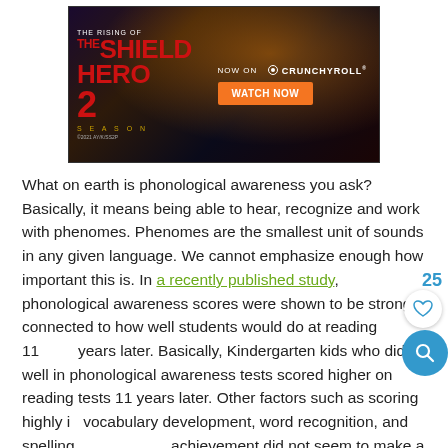[Figure (screenshot): Advertisement banner for 'The Rising of the Shield Hero Season 2' on Crunchyroll with a WATCH NOW button on orange background]
What on earth is phonological awareness you ask? Basically, it means being able to hear, recognize and work with phenomes. Phenomes are the smallest unit of sounds in any given language. We cannot emphasize enough how important this is. In a recently published study, phonological awareness scores were shown to be strongly connected to how well students would do at reading 11 years later. Basically, Kindergarten kids who did well in phonological awareness tests scored higher on reading tests 11 years later. Other factors such as scoring highly in vocabulary development, word recognition, and spelling achievement did not seem to make a difference in reading ability later. It makes sense doesn't it? When a child can hear the individual sounds in a word and associate those